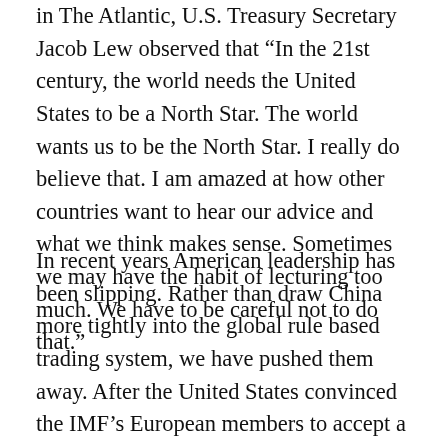in The Atlantic, U.S. Treasury Secretary Jacob Lew observed that “In the 21st century, the world needs the United States to be a North Star. The world wants us to be the North Star. I really do believe that. I am amazed at how other countries want to hear our advice and what we think makes sense. Sometimes we may have the habit of lecturing too much. We have to be careful not to do that.”
In recent years American leadership has been slipping. Rather than draw China more tightly into the global rule based trading system, we have pushed them away. After the United States convinced the IMF’s European members to accept a reduction in their share of votes in the IMF in order to give the rising share of